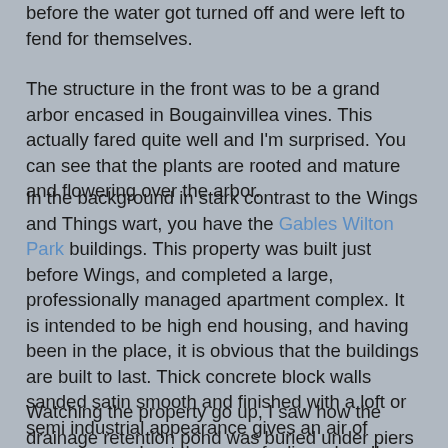before the water got turned off and were left to fend for themselves.
The structure in the front was to be a grand arbor encased in Bougainvillea vines.  This actually fared quite well and I'm surprised.  You can see that the plants are rooted and mature and flowering over the arbor.
In the background in stark contrast to the Wings and Things wart, you have the Gables Wilton Park buildings.   This property was built just before Wings, and completed a large, professionally managed apartment complex.  It is intended to be high end housing, and having been in the place, it is obvious that the buildings are built to last.  Thick concrete block walls sanded satin smooth and finished with a loft or semi industrial appearance gives an air of permanence.  I get the same feeling when I'm on South Beach and look at the old Deco District buildings.  They will be here long after we all have gone.
Watching the property go up, I saw how the drainage retention pond was buried under piers and a thick layer of concrete is trussed up over it like a bridge.  The Bridge was